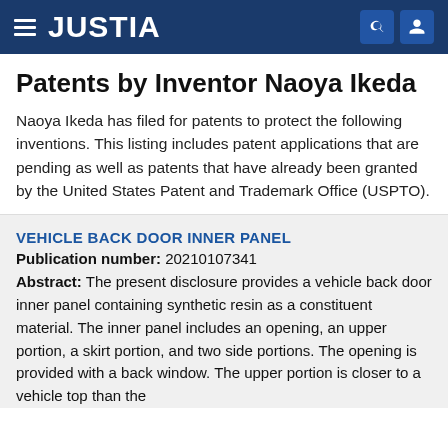JUSTIA
Patents by Inventor Naoya Ikeda
Naoya Ikeda has filed for patents to protect the following inventions. This listing includes patent applications that are pending as well as patents that have already been granted by the United States Patent and Trademark Office (USPTO).
VEHICLE BACK DOOR INNER PANEL
Publication number: 20210107341
Abstract: The present disclosure provides a vehicle back door inner panel containing synthetic resin as a constituent material. The inner panel includes an opening, an upper portion, a skirt portion, and two side portions. The opening is provided with a back window. The upper portion is closer to a vehicle top than the